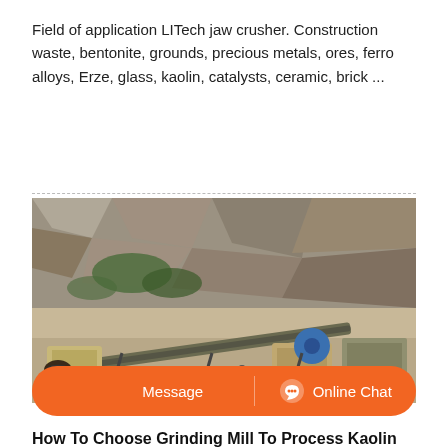Field of application LITech jaw crusher. Construction waste, bentonite, grounds, precious metals, ores, ferro alloys, Erze, glass, kaolin, catalysts, ceramic, brick ...
[Figure (photo): Outdoor mining/quarry site with heavy machinery including jaw crushers and conveyor belts at the base of a rocky mountain cliff face.]
How To Choose Grinding Mill To Process Kaolin